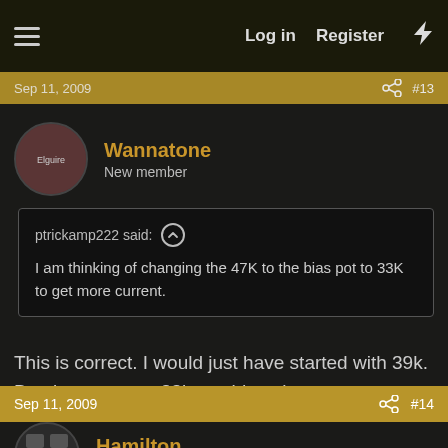Log in  Register
Sep 11, 2009   #13
Wannatone
New member
ptrickamp222 said: ↑
I am thinking of changing the 47K to the bias pot to 33K to get more current.
This is correct. I would just have started with 39k. But, in your case 33k would work, too.
Sep 11, 2009   #14
Hamilton
New member